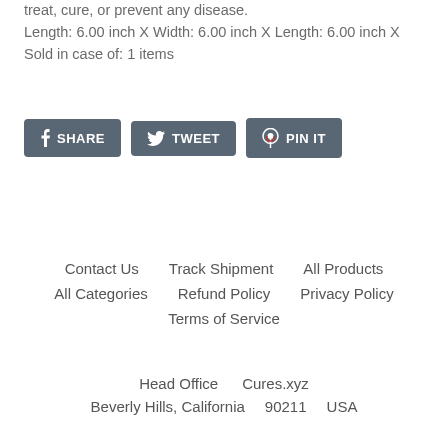treat, cure, or prevent any disease.
Length: 6.00 inch X Width: 6.00 inch X Length: 6.00 inch X
Sold in case of: 1 items
[Figure (other): Three social sharing buttons: SHARE (Facebook icon, dark gray), TWEET (Twitter bird icon, dark gray), PIN IT (Pinterest icon, dark gray)]
Contact Us   Track Shipment   All Products   All Categories   Refund Policy   Privacy Policy   Terms of Service
Head Office   Cures.xyz   Beverly Hills, California   90211   USA